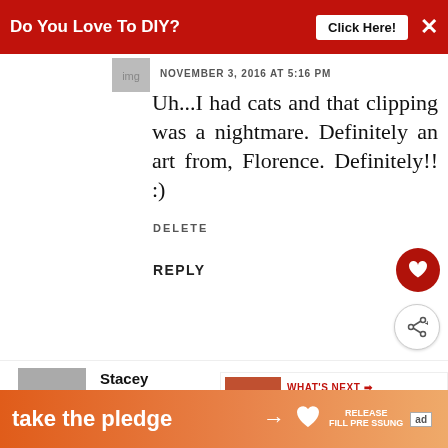Do You Love To DIY?   Click Here!   ×
NOVEMBER 3, 2016 AT 5:16 PM
Uh...I had cats and that clipping was a nightmare. Definitely an art from, Florence. Definitely!! :)
DELETE
REPLY
Stacey
NOVEMBER 2, 2016 AT 10:58 PM
Did you write this just for me? I
[Figure (other): What's Next widget showing Must Have Crafting Tools]
take the pledge →  RELEASE  ad